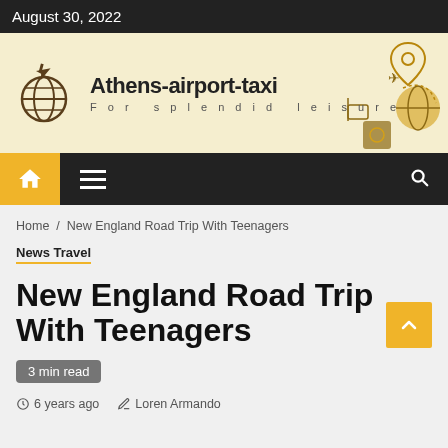August 30, 2022
[Figure (logo): Athens-airport-taxi logo banner with globe and airplane icon, tagline 'For splendid leisure', decorative travel icons on right]
Home / New England Road Trip With Teenagers
News Travel
New England Road Trip With Teenagers
3 min read
6 years ago  Loren Armando